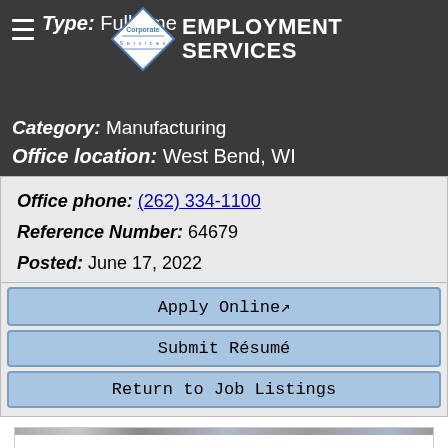Type: Full-time
[Figure (logo): Corporate Services diamond logo with 'EMPLOYMENT SERVICES' text]
Category: Manufacturing
Office location: West Bend, WI
Office phone: (262) 334-1100
Reference Number: 64679
Posted: June 17, 2022
Apply Online
Submit Résumé
Return to Job Listings
[Figure (photo): Partially visible image at the bottom of the page]